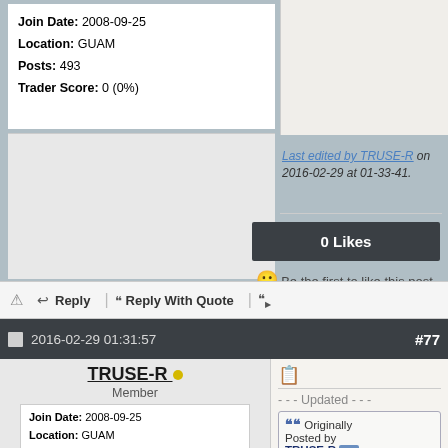Join Date: 2008-09-25
Location: GUAM
Posts: 493
Trader Score: 0 (0%)
Last edited by TRUSE-R on 2016-02-29 at 01-33-41.
0 Likes
Be the first to like this post.
Reply | Reply With Quote
2016-02-29 01:31:57  #77
TRUSE-R
Member
Join Date: 2008-09-25
Location: GUAM
Posts: 493
Trader Score: 0 (0%)
- - - Updated - - -
Originally Posted by TRUSE-R